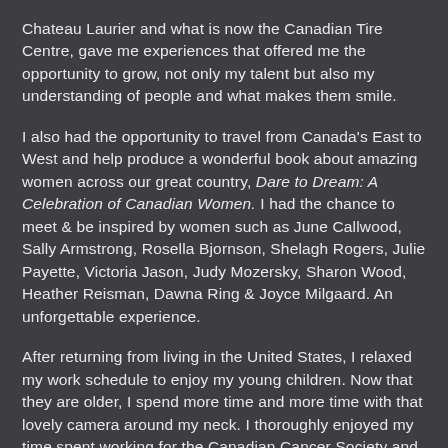Chateau Laurier and what is now the Canadian Tire Centre, gave me experiences that offered me the opportunity to grow, not only my talent but also my understanding of people and what makes them smile.
I also had the opportunity to travel from Canada's East to West and help produce a wonderful book about amazing women across our great country, Dare to Dream: A Celebration of Canadian Women.  I had the chance to meet & be inspired by women such as June Callwood, Sally Armstrong, Rosella Bjornson, Shelagh Rogers, Julie Payette, Victoria Jason, Judy Mozersky, Sharon Wood, Heather Reisman, Dawna Ring & Joyce Milgaard.  An unforgettable experience.
After returning from living in the United States, I relaxed my work schedule to enjoy my young children. Now that they are older, I spend more time and more time with that lovely camera around my neck.  I  thoroughly enjoyed my time spent working for the Canadian Cancer Society and all the fantastic people I encountered photographing the Relay for Life events around Ottawa.  I love the opportunities & the people I have met as a  Juried Member